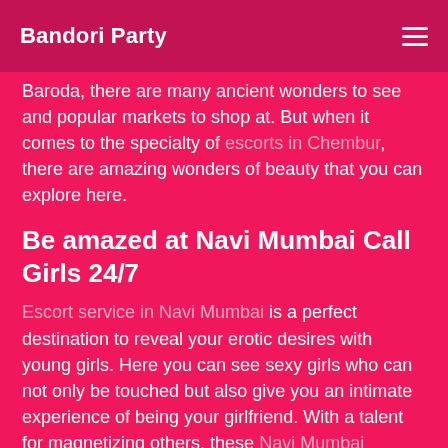Bandori Party
Baroda, there are many ancient wonders to see and popular markets to shop at. But when it comes to the specialty of escorts in Chembur, there are amazing wonders of beauty that you can explore here.
Be amazed at Navi Mumbai Call Girls 24/7
Escort service in Navi Mumbai is a perfect destination to reveal your erotic desires with young girls. Here you can see sexy girls who can not only be touched but also give you an intimate experience of being your girlfriend. With a talent for magnetizing others, these Navi Mumbai escorts service have bright, provocative stars ready to get your arousal going. As many people